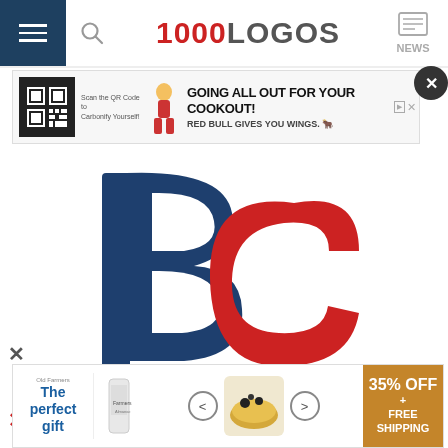1000LOGOS | NEWS
[Figure (screenshot): Advertisement banner: Red Bull GOING ALL OUT FOR YOUR COOKOUT with QR code]
[Figure (logo): BC (Boston Cubs / team) interlocking letters logo in navy blue and red with TM mark]
[Figure (screenshot): Advertisement banner: The perfect gift - 35% OFF + FREE SHIPPING]